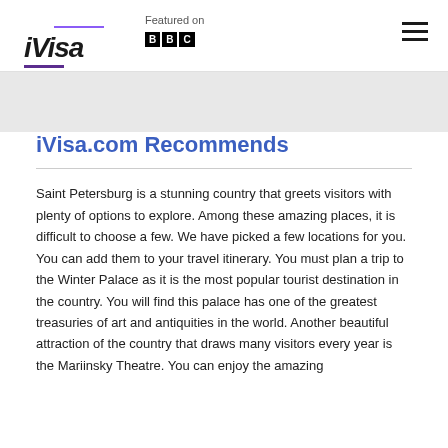iVisa — Featured on BBC
iVisa.com Recommends
Saint Petersburg is a stunning country that greets visitors with plenty of options to explore. Among these amazing places, it is difficult to choose a few. We have picked a few locations for you. You can add them to your travel itinerary. You must plan a trip to the Winter Palace as it is the most popular tourist destination in the country. You will find this palace has one of the greatest treasuries of art and antiquities in the world. Another beautiful attraction of the country that draws many visitors every year is the Mariinsky Theatre. You can enjoy the amazing